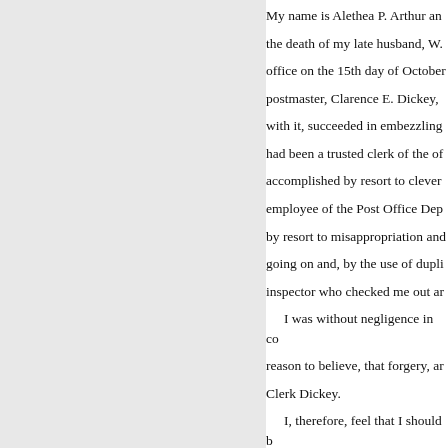My name is Alethea P. Arthur and the death of my late husband, W. office on the 15th day of October postmaster, Clarence E. Dickey, with it, succeeded in embezzling had been a trusted clerk of the of accomplished by resort to clever employee of the Post Office Dep by resort to misappropriation and going on and, by the use of dupli inspector who checked me out ar
I was without negligence in co reason to believe, that forgery, ar Clerk Dickey.
I, therefore, feel that I should b the shortages by Clarence E. Dic
Mrs. ALETHEA P. ARTHUR.
Notary Public. My commissio
.